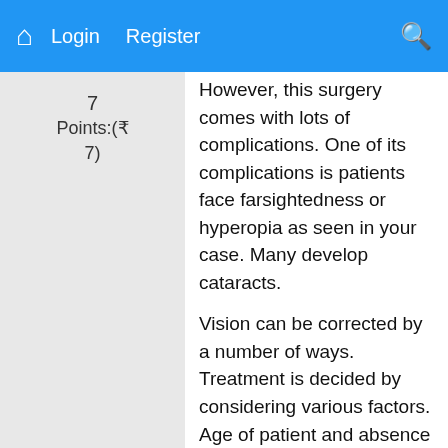Login  Register
7
Points:(₹ 7)
However, this surgery comes with lots of complications. One of its complications is patients face farsightedness or hyperopia as seen in your case. Many develop cataracts.
Vision can be corrected by a number of ways. Treatment is decided by considering various factors. Age of patient and absence or presence of cataract are important factors.
Some of the procedures that can be carried out are-
- Cataract surgery,
- Epi-LASIK,
- LASIK- Corrects refractive errors,